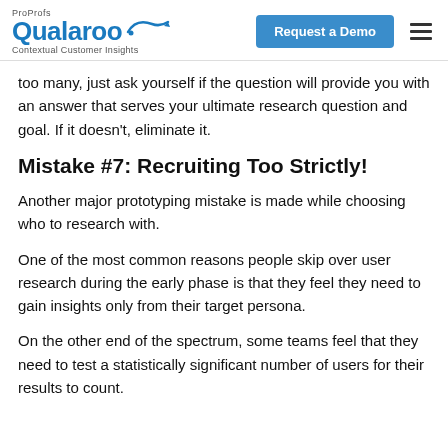ProProfs Qualaroo Contextual Customer Insights | Request a Demo
too many, just ask yourself if the question will provide you with an answer that serves your ultimate research question and goal. If it doesn't, eliminate it.
Mistake #7: Recruiting Too Strictly!
Another major prototyping mistake is made while choosing who to research with.
One of the most common reasons people skip over user research during the early phase is that they feel they need to gain insights only from their target persona.
On the other end of the spectrum, some teams feel that they need to test a statistically significant number of users for their results to count.